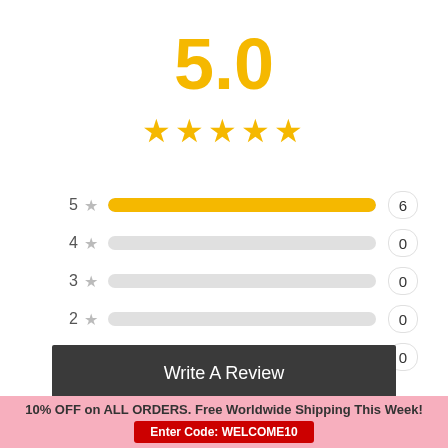5.0
[Figure (other): 5 gold stars rating display]
[Figure (bar-chart): Rating distribution]
Write A Review
Sort
10% OFF on ALL ORDERS. Free Worldwide Shipping This Week!
Enter Code: WELCOME10